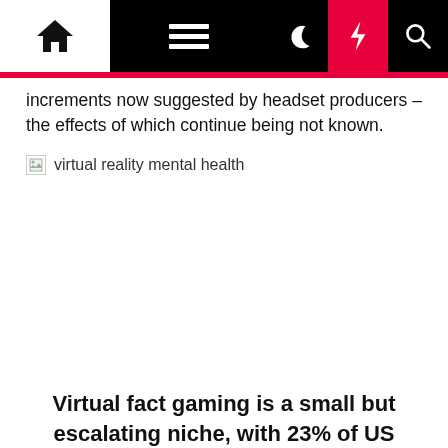Navigation bar with home, menu, moon, lightning, and search icons
increments now suggested by headset producers – the effects of which continue being not known.
[Figure (photo): Broken image placeholder with alt text 'virtual reality mental health' and a large blank white image area below]
Virtual fact gaming is a small but escalating niche, with 23% of US households noted to own or have entry to a VR headset. (Photograph by David